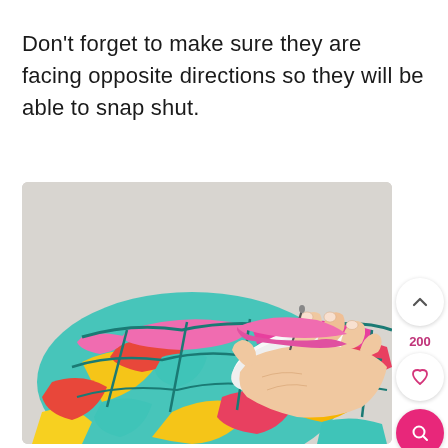Don't forget to make sure they are facing opposite directions so they will be able to snap shut.
[Figure (photo): A hand holding colorful patterned fabric (teal, yellow, red, pink geometric pattern) while using a tool to work on a snap or button closure. The fabric appears to be a decorative item being sewn or assembled. The background is a light gray/white surface.]